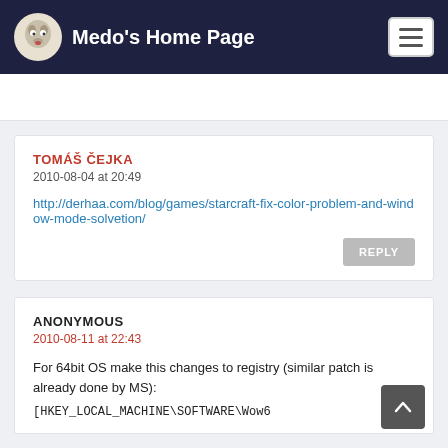Medo's Home Page
TOMÁŠ ČEJKA
2010-08-04 at 20:49
http://derhaa.com/blog/games/starcraft-fix-color-problem-and-window-mode-solvetion/
REPLY
ANONYMOUS
2010-08-11 at 22:43
For 64bit OS make this changes to registry (similar patch is already done by MS):
[HKEY_LOCAL_MACHINE\SOFTWARE\Wow6